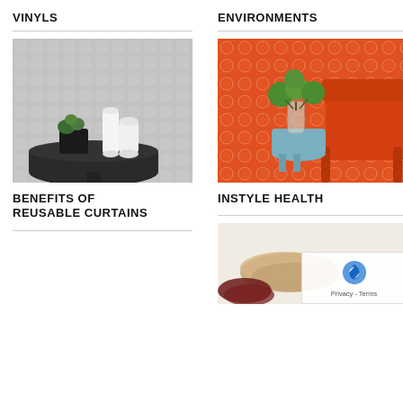VINYLS
[Figure (photo): Photo of a dark round table with white ceramic vases and a small green plant against a grey patterned wallpaper background]
BENEFITS OF REUSABLE CURTAINS
ENVIRONMENTS
[Figure (photo): Photo of an orange armchair and a small blue stool with green round plant, against an orange and white patterned wallpaper]
INSTYLE HEALTH
[Figure (photo): Partial photo showing skeins of brown/tan yarn on a white background, with reCAPTCHA overlay in bottom right corner]